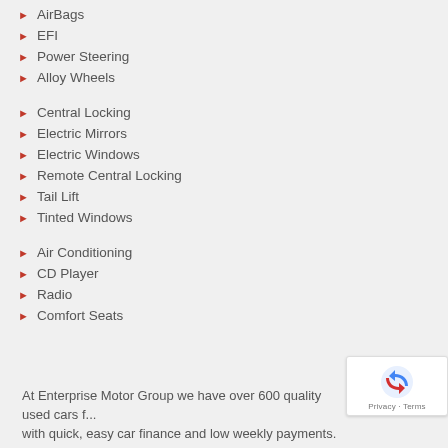AirBags
EFI
Power Steering
Alloy Wheels
Central Locking
Electric Mirrors
Electric Windows
Remote Central Locking
Tail Lift
Tinted Windows
Air Conditioning
CD Player
Radio
Comfort Seats
At Enterprise Motor Group we have over 600 quality used cars f... with quick, easy car finance and low weekly payments.